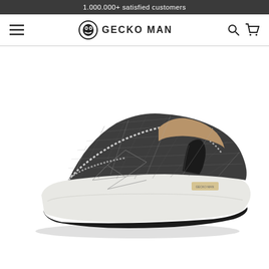1.000.000+ satisfied customers
[Figure (logo): Gecko Man brand logo with hamburger menu on the left and search/cart icons on the right]
[Figure (photo): Dark grey/charcoal canvas slip-on loafer shoe with white sole, frayed edge detailing, elastic side panels, and a small brand label on the side. The shoe is photographed at an angle on a white background.]